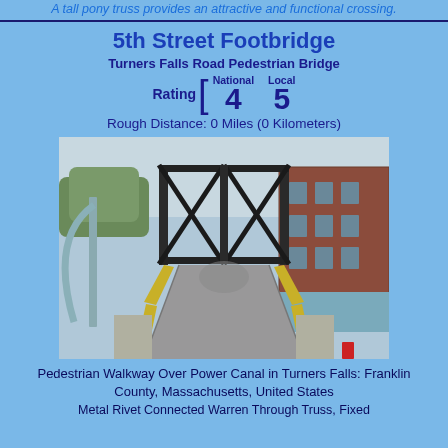A tall pony truss provides an attractive and functional crossing.
5th Street Footbridge
Turners Falls Road Pedestrian Bridge
Rating [ National 4   Local 5
Rough Distance: 0 Miles (0 Kilometers)
[Figure (photo): Photograph of a pedestrian footbridge with yellow railings, steel pony truss overhead structure, and a brick building visible in the background. View looking along the walkway toward the far end.]
Pedestrian Walkway Over Power Canal in Turners Falls: Franklin County, Massachusetts, United States
Metal Rivet Connected Warren Through Truss, Fixed